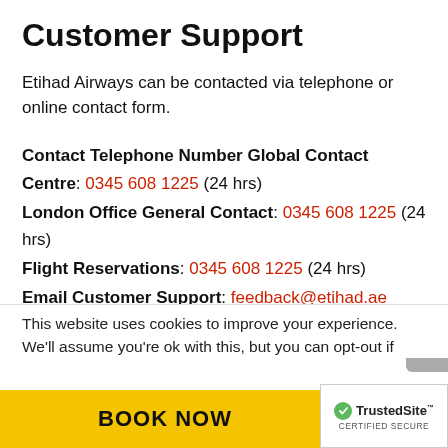Customer Support
Etihad Airways can be contacted via telephone or online contact form.
Contact Telephone Number Global Contact Centre: 0345 608 1225 (24 hrs)
London Office General Contact: 0345 608 1225 (24 hrs)
Flight Reservations: 0345 608 1225 (24 hrs)
Email Customer Support: feedback@etihad.ae
This website uses cookies to improve your experience. We'll assume you're ok with this, but you can opt-out if
BOOK NOW